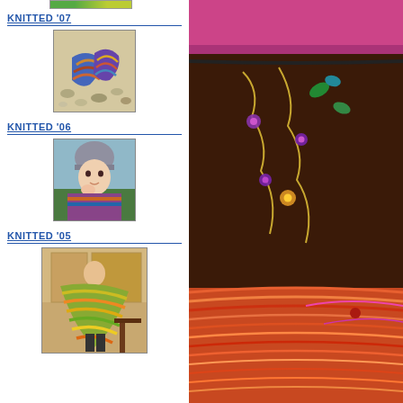[Figure (photo): Partial top image of a knitted item (green/colorful), cropped at top of page]
KNITTED '07
[Figure (photo): Photo of colorful knitted socks on pebbles/gravel, blue, orange, yellow multicolor]
KNITTED '06
[Figure (photo): Photo of a baby/toddler wearing a grey hat and purple/multicolor knitted sweater]
KNITTED '05
[Figure (photo): Photo of a woman wearing a long striped knitted shawl/wrap in green, yellow, orange colors]
[Figure (photo): Right side large photo: dark brown embroidered bag with colorful floral embroidery and orange/pink yarn skeins]